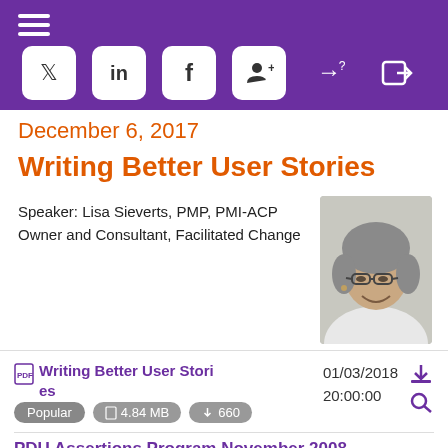Navigation header with hamburger menu and social/login icons (Twitter, LinkedIn, Facebook, Add User, Login, Sign In)
December 6, 2017
Writing Better User Stories
Speaker: Lisa Sieverts, PMP, PMI-ACP
Owner and Consultant, Facilitated Change
[Figure (photo): Headshot photo of Lisa Sieverts, a woman with short gray hair and glasses, smiling, wearing a white top]
| File | Date/Time | Actions |
| --- | --- | --- |
| Writing Better User Stories | 01/03/2018 20:00:00 | Download / Search |
Popular   4.84 MB   660
PDU Assertions Program November 2008